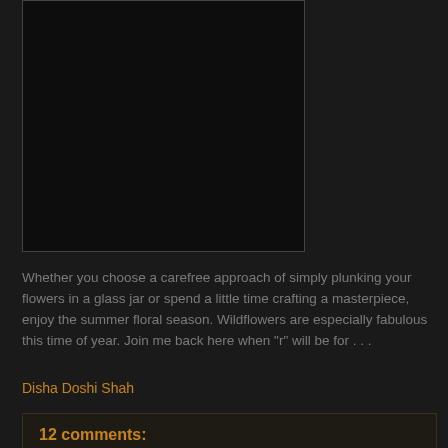[Figure (photo): Dark rectangular image area, mostly black, positioned in the upper left portion of the page]
Whether you choose a carefree approach of simply plunking your flowers in a glass jar or spend a little time crafting a masterpiece, enjoy the summer floral season. Wildflowers are especially fabulous this time of year. Join me back here when "r" will be for . . .
Disha Doshi Shah
12 comments: